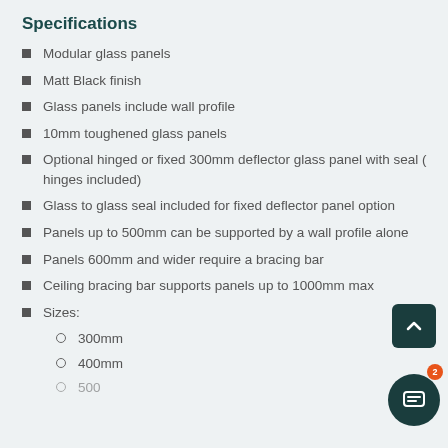Specifications
Modular glass panels
Matt Black finish
Glass panels include wall profile
10mm toughened glass panels
Optional hinged or fixed 300mm deflector glass panel with seal ( hinges included)
Glass to glass seal included for fixed deflector panel option
Panels up to 500mm can be supported by a wall profile alone
Panels 600mm and wider require a bracing bar
Ceiling bracing bar supports panels up to 1000mm max
Sizes:
300mm
400mm
500mm